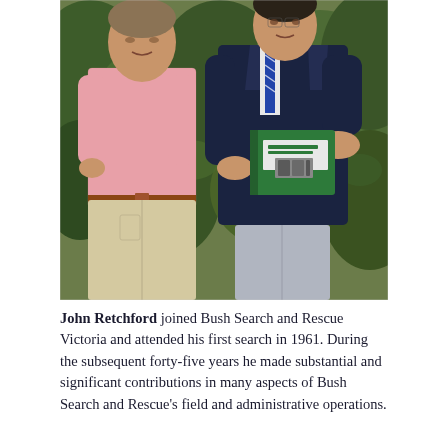[Figure (photo): Two men standing outdoors in front of green foliage. The man on the left wears a pink checked short-sleeved shirt with khaki trousers and a brown belt. The man on the right wears a dark navy blazer and holds a green booklet/pamphlet. Both are facing the camera.]
John Retchford joined Bush Search and Rescue Victoria and attended his first search in 1961. During the subsequent forty-five years he made substantial and significant contributions in many aspects of Bush Search and Rescue's field and administrative operations.